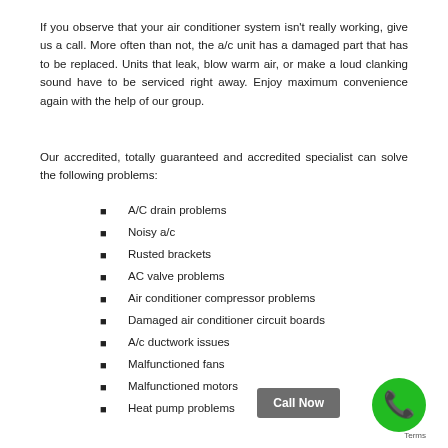If you observe that your air conditioner system isn't really working, give us a call. More often than not, the a/c unit has a damaged part that has to be replaced. Units that leak, blow warm air, or make a loud clanking sound have to be serviced right away. Enjoy maximum convenience again with the help of our group.
Our accredited, totally guaranteed and accredited specialist can solve the following problems:
A/C drain problems
Noisy a/c
Rusted brackets
AC valve problems
Air conditioner compressor problems
Damaged air conditioner circuit boards
A/c ductwork issues
Malfunctioned fans
Malfunctioned motors
Heat pump problems